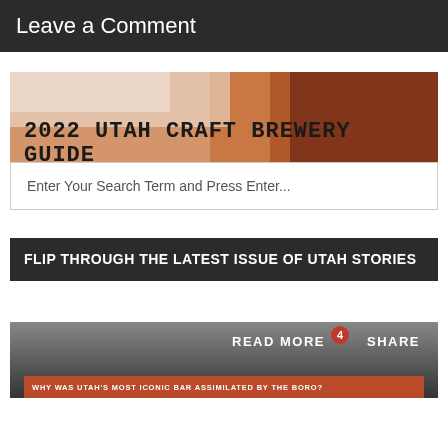Leave a Comment
[Figure (photo): 2022 Utah Craft Brewery Guide banner with beer foam and amber background]
Enter Your Search Term and Press Enter...
FLIP THROUGH THE LATEST ISSUE OF UTAH STORIES
[Figure (screenshot): Bottom panel with READ MORE (badge: 4) and SHARE buttons, and a bar reading WHY WAS UTAH'S MOST ICONIC BAR ASSIMILATED BY THE BORO?]